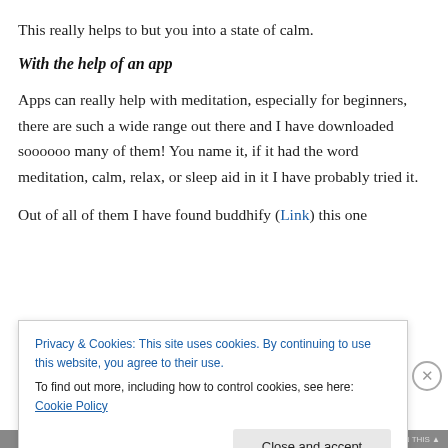This really helps to but you into a state of calm.
With the help of an app
Apps can really help with meditation, especially for beginners, there are such a wide range out there and I have downloaded soooooo many of them! You name it, if it had the word meditation, calm, relax, or sleep aid in it I have probably tried it.
Out of all of them I have found buddhify (Link) this one
Privacy & Cookies: This site uses cookies. By continuing to use this website, you agree to their use.
To find out more, including how to control cookies, see here: Cookie Policy
Close and accept